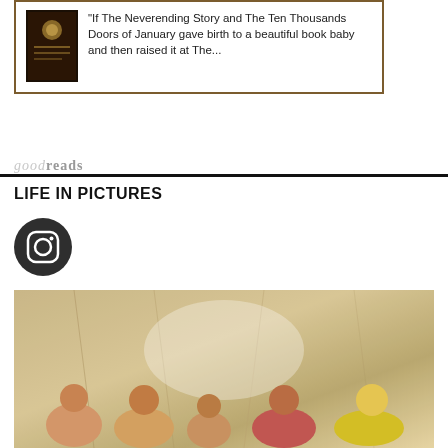[Figure (screenshot): Goodreads widget showing a book review excerpt: 'If The Neverending Story and The Ten Thousands Doors of January gave birth to a beautiful book baby and then raised it at The...' with a book cover thumbnail on the left.]
LIFE IN PICTURES
[Figure (logo): Instagram icon — dark circular button with camera outline]
[Figure (photo): Group photo of five people (women and girls) posing together indoors in front of a marble/wood-patterned wall, smiling at the camera.]